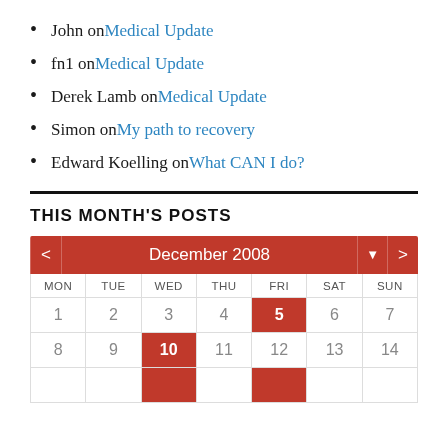John on Medical Update
fn1 on Medical Update
Derek Lamb on Medical Update
Simon on My path to recovery
Edward Koelling on What CAN I do?
THIS MONTH'S POSTS
[Figure (other): December 2008 calendar widget with navigation arrows, month/year header in red, day headers MON TUE WED THU FRI SAT SUN, and dates 1-14 shown. Dates 5 and 10 are highlighted in red.]